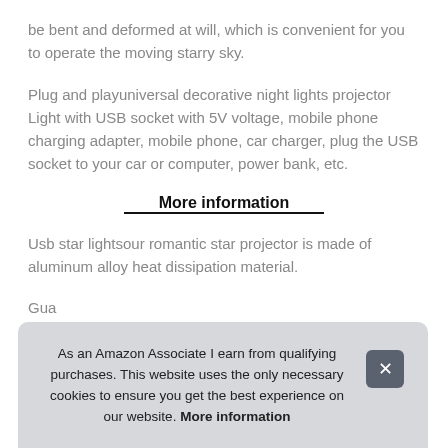be bent and deformed at will, which is convenient for you to operate the moving starry sky.
Plug and playuniversal decorative night lights projector Light with USB socket with 5V voltage, mobile phone charging adapter, mobile phone, car charger, plug the USB socket to your car or computer, power bank, etc.
More information
Usb star lightsour romantic star projector is made of aluminum alloy heat dissipation material.
Gua hes our alloy ang weight
As an Amazon Associate I earn from qualifying purchases. This website uses the only necessary cookies to ensure you get the best experience on our website. More information